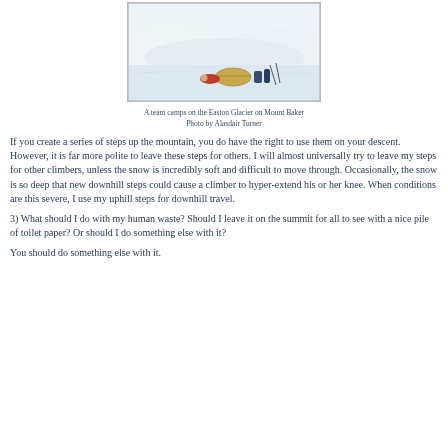[Figure (photo): A team camping on the Easton Glacier on Mount Baker. A person in red jacket lies near a tent; ski equipment visible. Deep snow and glacier in background.]
A team camps on the Easton Glacier on Mount Baker
Photo by Alasdair Turner
If you create a series of steps up the mountain, you do have the right to use them on your descent. However, it is far more polite to leave these steps for others. I will almost universally try to leave my steps for other climbers, unless the snow is incredibly soft and difficult to move through. Occasionally, the snow is so deep that new downhill steps could cause a climber to hyper-extend his or her knee. When conditions are this severe, I use my uphill steps for downhill travel.
3) What should I do with my human waste? Should I leave it on the summit for all to see with a nice pile of toilet paper? Or should I do something else with it?
You should do something else with it.